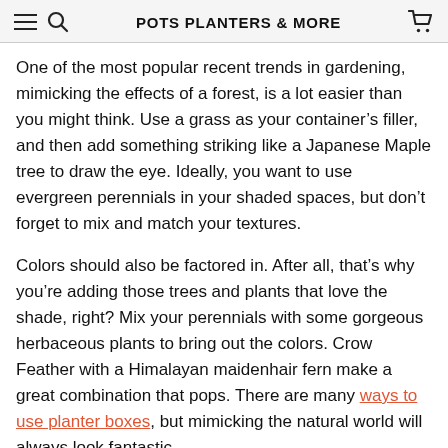POTS PLANTERS & MORE
One of the most popular recent trends in gardening, mimicking the effects of a forest, is a lot easier than you might think. Use a grass as your container’s filler, and then add something striking like a Japanese Maple tree to draw the eye. Ideally, you want to use evergreen perennials in your shaded spaces, but don’t forget to mix and match your textures.
Colors should also be factored in. After all, that’s why you’re adding those trees and plants that love the shade, right? Mix your perennials with some gorgeous herbaceous plants to bring out the colors. Crow Feather with a Himalayan maidenhair fern make a great combination that pops. There are many ways to use planter boxes, but mimicking the natural world will always look fantastic.